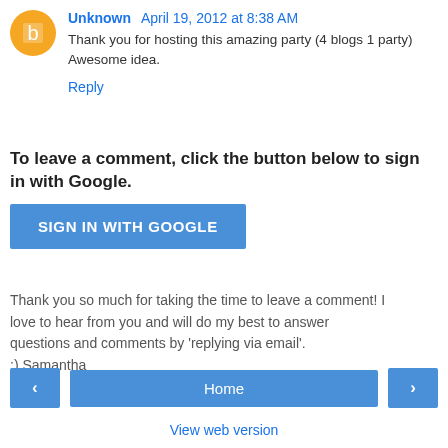Unknown April 19, 2012 at 8:38 AM
Thank you for hosting this amazing party (4 blogs 1 party) Awesome idea.
Reply
To leave a comment, click the button below to sign in with Google.
SIGN IN WITH GOOGLE
Thank you so much for taking the time to leave a comment! I love to hear from you and will do my best to answer questions and comments by 'replying via email'.
:) Samantha
< Home > View web version